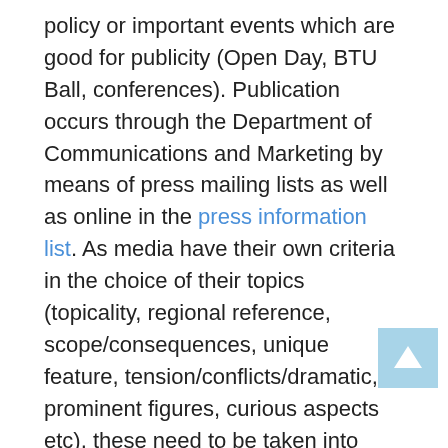policy or important events which are good for publicity (Open Day, BTU Ball, conferences). Publication occurs through the Department of Communications and Marketing by means of press mailing lists as well as online in the press information list. As media have their own criteria in the choice of their topics (topicality, regional reference, scope/consequences, unique feature, tension/conflicts/dramatic, prominent figures, curious aspects etc), these need to be taken into consideration when compiling press information.
The Federal Association for University Communication, in which the BTU's Department of Comminucations and Marketing is an active member, has issued the following information with specific guidelines:
Cooperation with editorial departments/offices